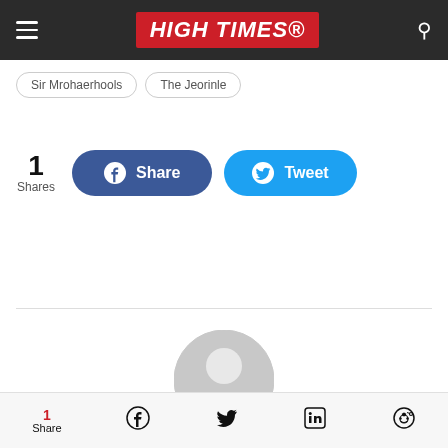HIGH TIMES
Sir Frodaerhoels   The Jeorinle
1 Shares
[Figure (infographic): Facebook Share button (blue rounded rectangle) and Twitter Tweet button (cyan rounded rectangle) with icons]
[Figure (illustration): Generic user avatar placeholder - grey circular person silhouette]
1 Share | Facebook icon | Twitter icon | LinkedIn icon | Reddit icon